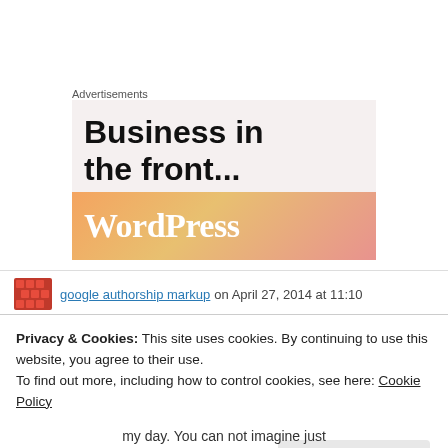Advertisements
[Figure (illustration): WordPress advertisement banner with text 'Business in the front...' on light pinkish background and WordPress logo on orange-to-pink gradient banner]
google authorship markup on April 27, 2014 at 11:10
Privacy & Cookies: This site uses cookies. By continuing to use this website, you agree to their use.
To find out more, including how to control cookies, see here: Cookie Policy
Close and accept
my day. You can not imagine just